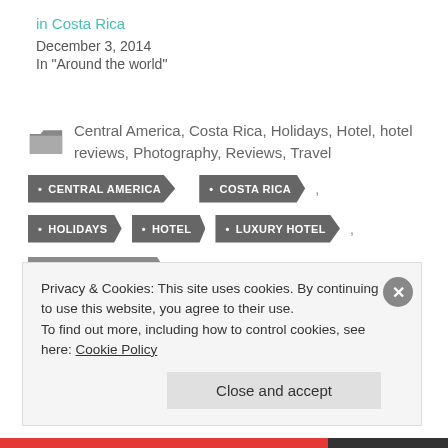in Costa Rica
December 3, 2014
In "Around the world"
Central America, Costa Rica, Holidays, Hotel, hotel reviews, Photography, Reviews, Travel
• CENTRAL AMERICA
• COSTA RICA
• HOLIDAYS
• HOTEL
• LUXURY HOTEL
Privacy & Cookies: This site uses cookies. By continuing to use this website, you agree to their use.
To find out more, including how to control cookies, see here: Cookie Policy
Close and accept